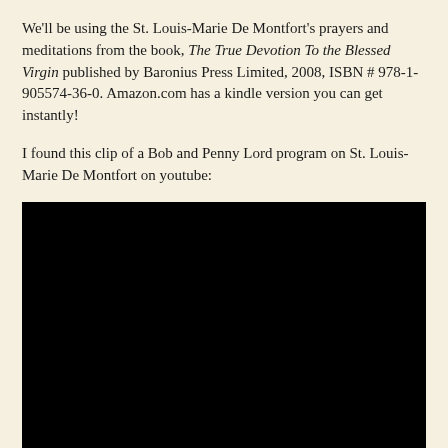We'll be using the St. Louis-Marie De Montfort's prayers and meditations from the book, The True Devotion To the Blessed Virgin published by Baronius Press Limited, 2008, ISBN # 978-1-905574-36-0. Amazon.com has a kindle version you can get instantly!
I found this clip of a Bob and Penny Lord program on St. Louis-Marie De Montfort on youtube:
[Figure (screenshot): Embedded black video player (YouTube video embed), displayed as a solid black rectangle representing an embedded video clip.]